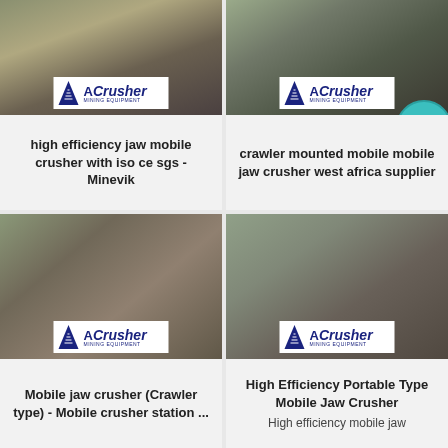[Figure (photo): Mining equipment / jaw crusher at industrial site with ACrusher Mining Equipment logo overlay]
high efficiency jaw mobile crusher with iso ce sgs - Minevik
[Figure (photo): Crawler mounted mobile jaw crusher at quarry site with ACrusher Mining Equipment logo overlay and LIVE CHAT bubble]
crawler mounted mobile mobile jaw crusher west africa supplier
[Figure (photo): Mobile jaw crusher station with conveyor belts and ACrusher Mining Equipment logo overlay]
Mobile jaw crusher (Crawler type) - Mobile crusher station ...
[Figure (photo): High efficiency portable type mobile jaw crusher at industrial site with ACrusher Mining Equipment logo overlay]
High Efficiency Portable Type Mobile Jaw Crusher
High efficiency mobile jaw